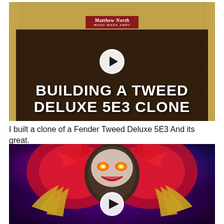[Figure (screenshot): Thumbnail image of a Fender Tweed Deluxe 5E3 Clone guitar amplifier with tweed covering, dark speaker grille, Matthew North name badge, white play button overlay, and bold white text reading BUILDING A TWEED DELUXE 5E3 CLONE]
I built a clone of a Fender Tweed Deluxe 5E3 And its great.
[Figure (screenshot): Thumbnail image of a stylized evil clown character illustration with red hair, glowing eyes, sharp claws, purple/red background lighting, and a white play button overlay]